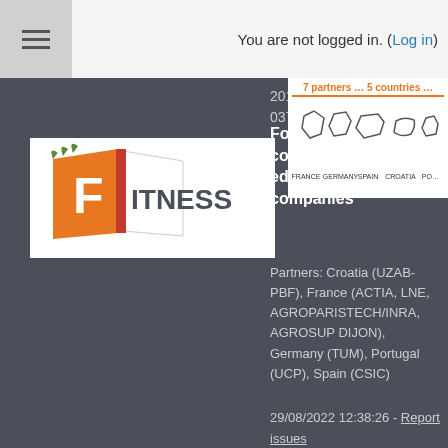You are not logged in. (Log in)
2017-1-FR01-KA202-037441)
[Figure (logo): FITNESS project logo — orange book with F letter and FITNESS text]
Food packaging open courseware for higher education and staff of companies
[Figure (map): Map showing 7 partners, 5 countries: France, Germany, Spain, Croatia, Portugal]
Partners: Croatia (UZAB-PBF), France (ACTIA, LNE, AGROPARISTECH/INRA, AGROSUP DIJON), Germany (TUM), Portugal (UCP), Spain (CSIC)
29/08/2022 12:38:26 - Report issues